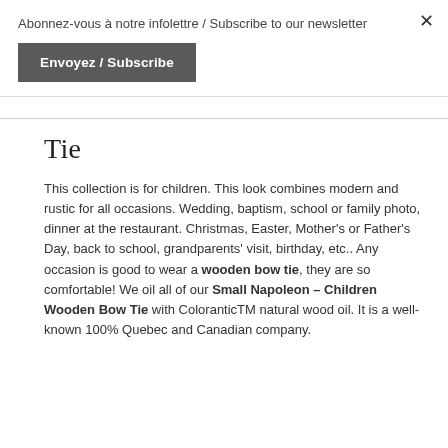Abonnez-vous à notre infolettre / Subscribe to our newsletter
Envoyez / Subscribe
Tie
This collection is for children. This look combines modern and rustic for all occasions. Wedding, baptism, school or family photo, dinner at the restaurant. Christmas, Easter, Mother's or Father's Day, back to school, grandparents' visit, birthday, etc.. Any occasion is good to wear a wooden bow tie, they are so comfortable! We oil all of our Small Napoleon – Children Wooden Bow Tie with ColoranticTM natural wood oil. It is a well-known 100% Quebec and Canadian company.